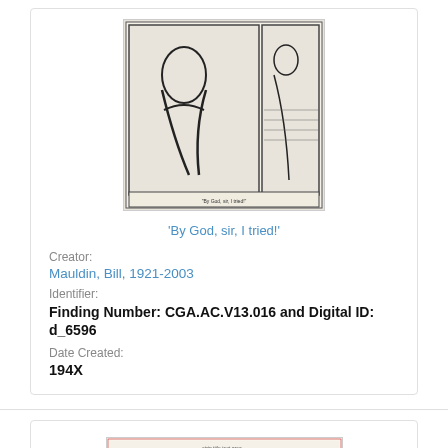[Figure (illustration): Black and white cartoon/comic illustration showing figures, appears to be a newspaper comic strip panel]
'By God, sir, I tried!'
Creator:
Mauldin, Bill, 1921-2003
Identifier:
Finding Number: CGA.AC.V13.016 and Digital ID: d_6596
Date Created:
194X
[Figure (illustration): Second cartoon/comic strip illustration, wider format showing multiple panels with small figures]